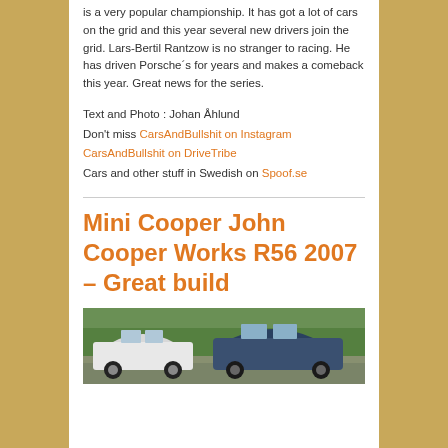is a very popular championship. It has got a lot of cars on the grid and this year several new drivers join the grid. Lars-Bertil Rantzow is no stranger to racing. He has driven Porsche´s for years and makes a comeback this year. Great news for the series.
Text and Photo : Johan Åhlund
Don't miss CarsAndBullshit on Instagram
CarsAndBullshit on DriveTribe
Cars and other stuff in Swedish on Spoof.se
Mini Cooper John Cooper Works R56 2007 – Great build
[Figure (photo): Photo of a Mini Cooper John Cooper Works R56 2007 parked outdoors with greenery in background]